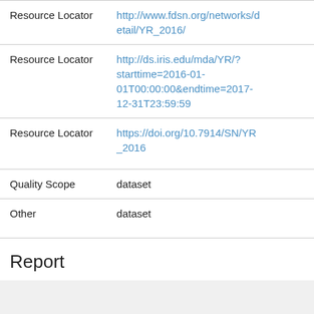| Field | Value |
| --- | --- |
| Resource Locator | http://www.fdsn.org/networks/detail/YR_2016/ |
| Resource Locator | http://ds.iris.edu/mda/YR/?starttime=2016-01-01T00:00:00&endtime=2017-12-31T23:59:59 |
| Resource Locator | https://doi.org/10.7914/SN/YR_2016 |
| Quality Scope | dataset |
| Other | dataset |
Report